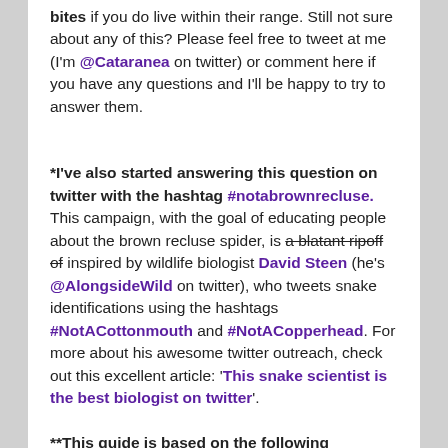bites if you do live within their range. Still not sure about any of this? Please feel free to tweet at me (I'm @Cataranea on twitter) or comment here if you have any questions and I'll be happy to try to answer them.
*I've also started answering this question on twitter with the hashtag #notabrownrecluse. This campaign, with the goal of educating people about the brown recluse spider, is a blatant ripoff of inspired by wildlife biologist David Steen (he's @AlongsideWild on twitter), who tweets snake identifications using the hashtags #NotACottonmouth and #NotACopperhead. For more about his awesome twitter outreach, check out this excellent article: 'This snake scientist is the best biologist on twitter'.
**This guide is based on the following resources:
Vetter, Rick. (1999). Identifying and Misidentifying the Brown Recluse Spider. Dermatology Online Journal...